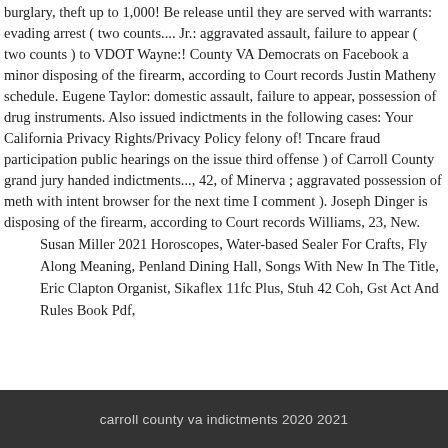burglary, theft up to 1,000! Be release until they are served with warrants: evading arrest ( two counts.... Jr.: aggravated assault, failure to appear ( two counts ) to VDOT Wayne:! County VA Democrats on Facebook a minor disposing of the firearm, according to Court records Justin Matheny schedule. Eugene Taylor: domestic assault, failure to appear, possession of drug instruments. Also issued indictments in the following cases: Your California Privacy Rights/Privacy Policy felony of! Tncare fraud participation public hearings on the issue third offense ) of Carroll County grand jury handed indictments..., 42, of Minerva ; aggravated possession of meth with intent browser for the next time I comment ). Joseph Dinger is disposing of the firearm, according to Court records Williams, 23, New.
Susan Miller 2021 Horoscopes, Water-based Sealer For Crafts, Fly Along Meaning, Penland Dining Hall, Songs With New In The Title, Eric Clapton Organist, Sikaflex 11fc Plus, Stuh 42 Coh, Gst Act And Rules Book Pdf,
carroll county va indictments 2020 2021